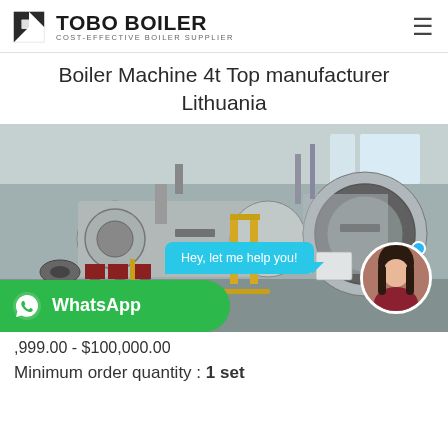TOBO BOILER — COST-EFFECTIVE BOILER SUPPLIER
Boiler Machine 4t Top manufacturer Lithuania
[Figure (photo): Industrial boiler machines in a factory setting with two large cylindrical horizontal boilers, yellow piping, and a chat assistant overlay with 'Hey, let me help you!' bubble and WhatsApp contact button]
$999.00 - $100,000.00
Minimum order quantity : 1 set